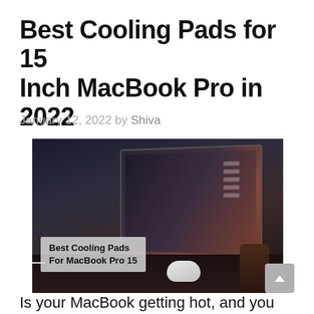Best Cooling Pads for 15 Inch MacBook Pro in 2022
January 12, 2022 by Shiva
[Figure (photo): Dark atmospheric photo of a MacBook Pro on a desk with a white Apple mouse and pencil holder. Overlay text on image reads: Best Cooling Pads For MacBook Pro 15]
Is your MacBook getting hot, and you